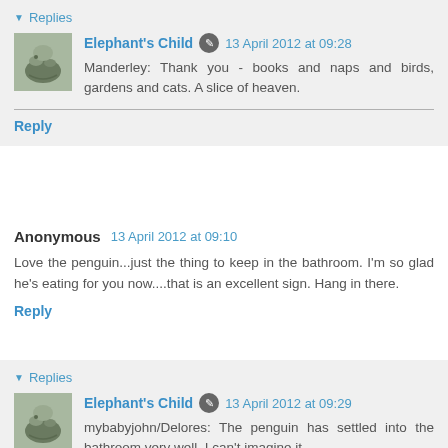▼ Replies
Elephant's Child  13 April 2012 at 09:28
Manderley: Thank you - books and naps and birds, gardens and cats. A slice of heaven.
Reply
Anonymous  13 April 2012 at 09:10
Love the penguin...just the thing to keep in the bathroom. I'm so glad he's eating for you now....that is an excellent sign. Hang in there.
Reply
▼ Replies
Elephant's Child  13 April 2012 at 09:29
mybabyjohn/Delores: The penguin has settled into the bathroom very well. I can't imagine it